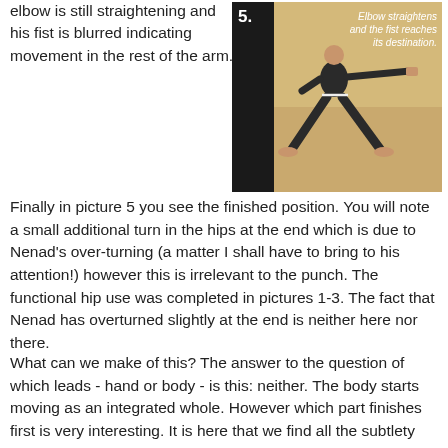elbow is still straightening and his fist is blurred indicating movement in the rest of the arm.
[Figure (photo): Photo labeled '5.' showing a martial artist in a wide stance extending a punch, with caption 'Elbow straightens and the fist reaches its destination.']
Finally in picture 5 you see the finished position. You will note a small additional turn in the hips at the end which is due to Nenad's over-turning (a matter I shall have to bring to his attention!) however this is irrelevant to the punch. The functional hip use was completed in pictures 1-3. The fact that Nenad has overturned slightly at the end is neither here nor there.
What can we make of this? The answer to the question of which leads - hand or body - is this: neither. The body starts moving as an integrated whole. However which part finishes first is very interesting. It is here that we find all the subtlety that makes for effective stored activation. Your extremities